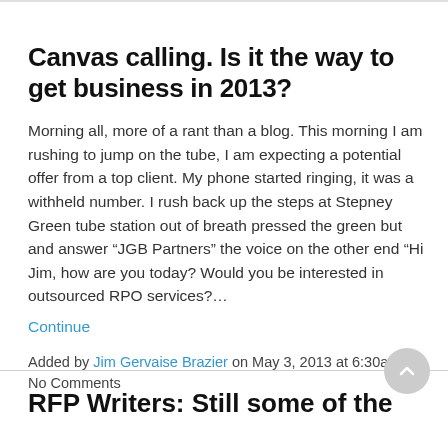Canvas calling. Is it the way to get business in 2013?
Morning all, more of a rant than a blog. This morning I am rushing to jump on the tube, I am expecting a potential offer from a top client. My phone started ringing, it was a withheld number. I rush back up the steps at Stepney Green tube station out of breath pressed the green but and answer “JGB Partners” the voice on the other end “Hi Jim, how are you today? Would you be interested in outsourced RPO services?…
Continue
Added by Jim Gervaise Brazier on May 3, 2013 at 6:30am — No Comments
RFP Writers: Still some of the